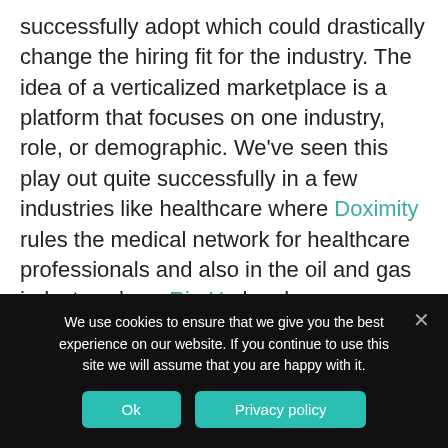successfully adopt which could drastically change the hiring fit for the industry. The idea of a verticalized marketplace is a platform that focuses on one industry, role, or demographic. We've seen this play out quite successfully in a few industries like healthcare where Doximity rules the medical network for healthcare professionals and also in the oil and gas industry where Rig Up has been extremely successful creating a place for the specialized energy sector. These are just two examples of successful outcomes for creating an environment where like-minded individuals can
We use cookies to ensure that we give you the best experience on our website. If you continue to use this site we will assume that you are happy with it.